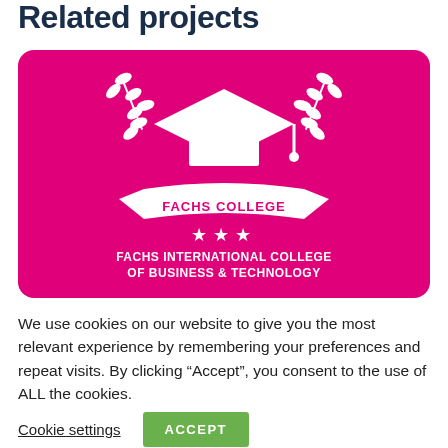Related projects
[Figure (logo): FACHS International College of Business & Technology logo on a magenta/pink rounded rectangle background. White graduation cap with laurel branches on each side, a banner reading FACHS COLLEGE, three stars, and text FACHS INTERNATIONAL COLLEGE OF BUSINESS & TECHNOLOGY below.]
We use cookies on our website to give you the most relevant experience by remembering your preferences and repeat visits. By clicking “Accept”, you consent to the use of ALL the cookies.
Cookie settings   ACCEPT